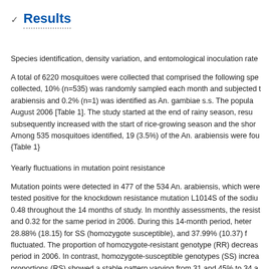Results
Species identification, density variation, and entomological inoculation rate
A total of 6220 mosquitoes were collected that comprised the following spe collected, 10% (n=535) was randomly sampled each month and subjected t arabiensis and 0.2% (n=1) was identified as An. gambiae s.s. The popula August 2006 [Table 1]. The study started at the end of rainy season, resu subsequently increased with the start of rice-growing season and the shor Among 535 mosquitoes identified, 19 (3.5%) of the An. arabiensis were fou {Table 1}
Yearly fluctuations in mutation point resistance
Mutation points were detected in 477 of the 534 An. arabiensis, which were tested positive for the knockdown resistance mutation L1014S of the sodiu 0.48 throughout the 14 months of study. In monthly assessments, the resist and 0.32 for the same period in 2006. During this 14-month period, heter 28.88% (18.15) for SS (homozygote susceptible), and 37.99% (10.37) f fluctuated. The proportion of homozygote-resistant genotype (RR) decreas period in 2006. In contrast, homozygote-susceptible genotypes (SS) increa proportions (RS) showed a stable pattern varying from 31 and 45% to 34 a